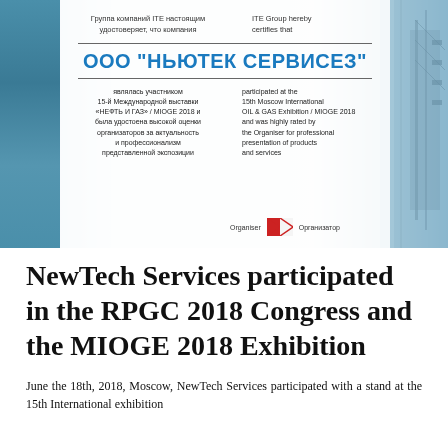[Figure (photo): Certificate from ITE Group for OOO НЬЮТЕК СЕРВИСЕЗ participation in 15th Moscow International OIL & GAS Exhibition / MIOGE 2018, with oil rig background image on the right side.]
NewTech Services participated in the RPGC 2018 Congress and the MIOGE 2018 Exhibition
June the 18th, 2018, Moscow, NewTech Services participated with a stand at the 15th International exhibition